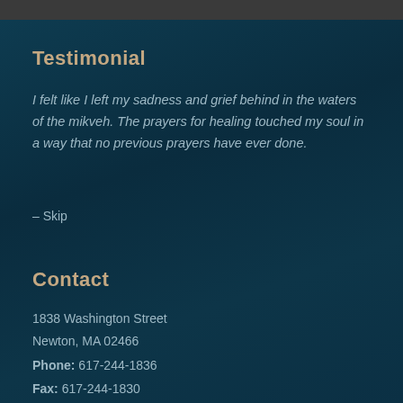Testimonial
I felt like I left my sadness and grief behind in the waters of the mikveh. The prayers for healing touched my soul in a way that no previous prayers have ever done.
– Skip
Contact
1838 Washington Street
Newton, MA 02466
Phone: 617-244-1836
Fax: 617-244-1830